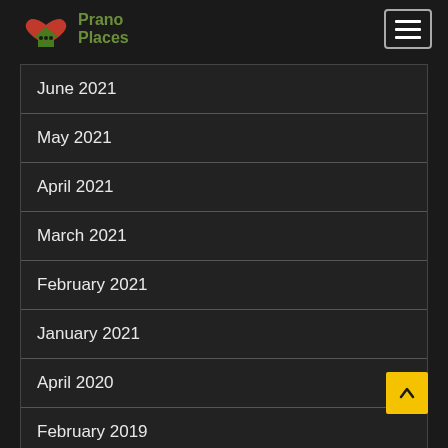Prano Places
June 2021
May 2021
April 2021
March 2021
February 2021
January 2021
April 2020
February 2019